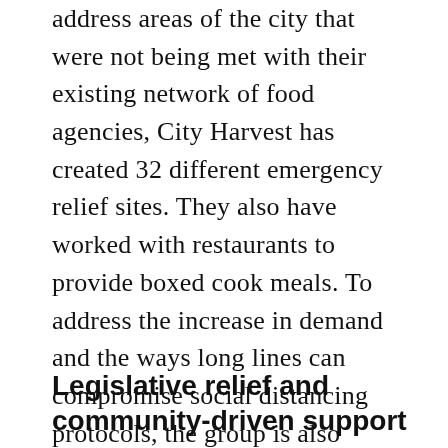address areas of the city that were not being met with their existing network of food agencies, City Harvest has created 32 different emergency relief sites. They also have worked with restaurants to provide boxed cook meals. To address the increase in demand and the ways long lines can compromise social distancing protocols, the group is also working with Plentiful, a web-based application that will allow individuals to make appointments to schedule their food pickups.
Legislative relief and community-driven support